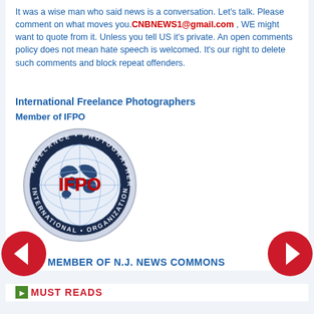It was a wise man who said news is a conversation. Let's talk. Please comment on what moves you. CNBNEWS1@gmail.com , WE might want to quote from it. Unless you tell US it's private. An open comments policy does not mean hate speech is welcomed. It's our right to delete such comments and block repeat offenders.
International Freelance Photographers
Member of IFPO
[Figure (logo): IFPO circular badge/patch with globe and text: INTERNATIONAL FREELANCE PHOTOGRAPHERS ORGANIZATION, with IFPO in red in the center]
[Figure (other): Left navigation arrow button (red circle with white left arrow)]
[Figure (other): Right navigation arrow button (red circle with white right arrow)]
MEMBER OF N.J. NEWS COMMONS
MUST READS